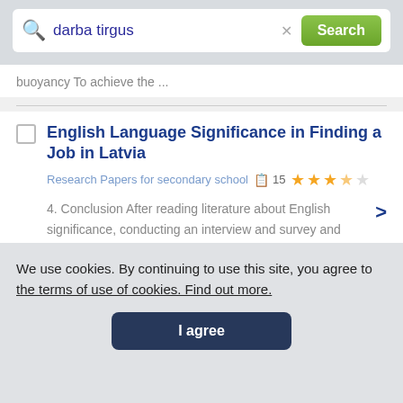[Figure (screenshot): Search bar with query 'darba tirgus', clear button, and green Search button]
buoyancy To achieve the ...
English Language Significance in Finding a Job in Latvia
Research Papers for secondary school   15   ★★★★☆
4. Conclusion After reading literature about English significance, conducting an interview and survey and analyzing job advertisements conclusions can be made. A lot of ...
We use cookies. By continuing to use this site, you agree to the terms of use of cookies. Find out more.
I agree